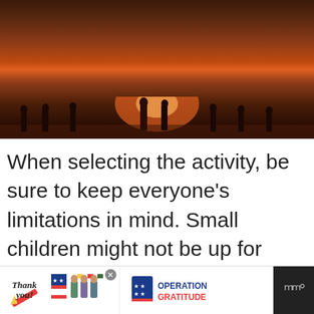[Figure (photo): People silhouetted against a dramatic red-orange sunset on a beach or open area, backlit by a bright glowing sun on the horizon]
When selecting the activity, be sure to keep everyone’s limitations in mind. Small children might not be up for mountain climbing but would love a trip to the local park and playground. Biking as a family is a good option as long as the ride isn’t too strenuous for some family members.
[Figure (screenshot): Website UI overlay showing a teal heart/like button, a share button with count of 1, and a 'What's Next' suggestion box reading 'Save Time At Dinner So Y...']
[Figure (photo): Advertisement banner for Operation Gratitude showing a thank you card graphic with American flag design and three people in medical masks holding cards]